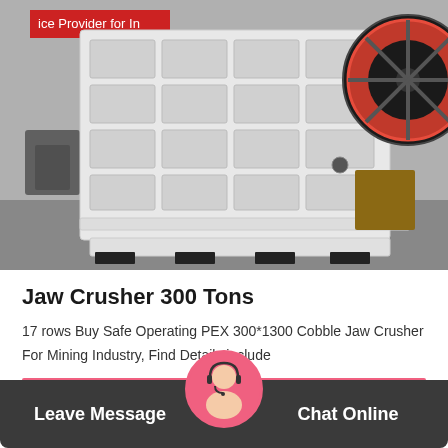[Figure (photo): Photo of a large white jaw crusher machine (PEX 300*1300 type) on a factory floor, with a red-trimmed flywheel visible on the right side. The machine has a ribbed frame structure and sits on black rubber feet. Industrial factory background visible.]
Jaw Crusher 300 Tons
17 rows Buy Safe Operating PEX 300*1300 Cobble Jaw Crusher For Mining Industry, Find Details include
Read More
Leave Message   Chat Online